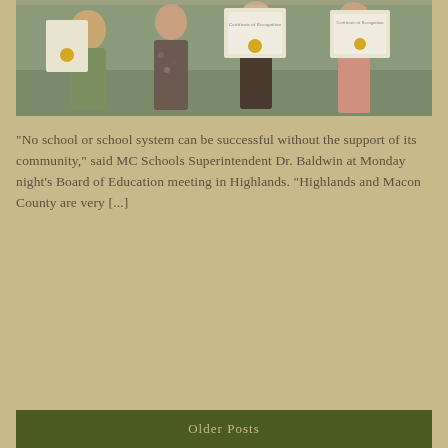[Figure (photo): Group of people holding certificates/diplomas, standing indoors]
“No school or school system can be successful without the support of its community,” said MC Schools Superintendent Dr. Baldwin at Monday night’s Board of Education meeting in Highlands. “Highlands and Macon County are very [...]
Read More
Older Posts